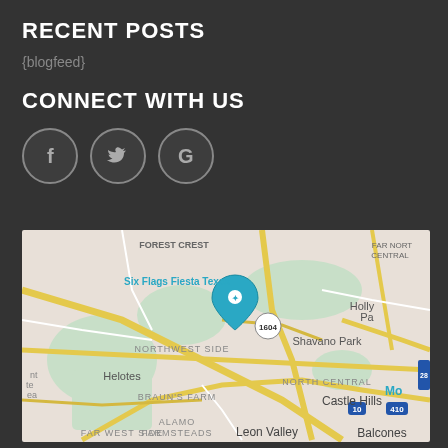RECENT POSTS
{blogfeed}
CONNECT WITH US
[Figure (other): Social media icons: Facebook (f), Twitter (bird), Google (G) — circular grey outlined buttons]
[Figure (map): Google Maps showing northwest San Antonio area including Six Flags Fiesta Texas, Shavano Park, Helotes, Northwest Side, North Central, Castle Hills, Leon Valley, Balcones, Alamo Farmsteads, Braun's Farm, Far West Side, Forest Crest, Far North Central, Holly Park areas with roads and highway markers 1604, 10, 410, 28]